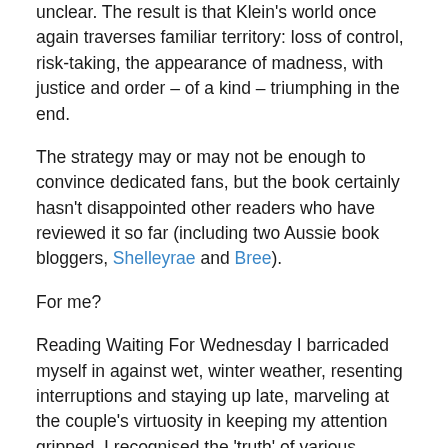unclear. The result is that Klein's world once again traverses familiar territory: loss of control, risk-taking, the appearance of madness, with justice and order – of a kind – triumphing in the end.
The strategy may or may not be enough to convince dedicated fans, but the book certainly hasn't disappointed other readers who have reviewed it so far (including two Aussie book bloggers, Shelleyrae and Bree).
For me?
Reading Waiting For Wednesday I barricaded myself in against wet, winter weather, resenting interruptions and staying up late, marveling at the couple's virtuosity in keeping my attention gripped. I recognised the 'truth' of various characters' behaviour, including their fascination with drama: